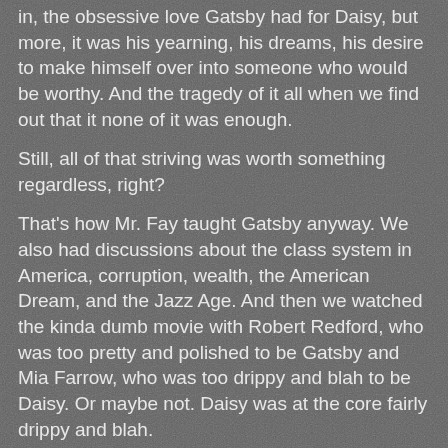in, the obsessive love Gatsby had for Daisy, but more, it was his yearning, his dreams, his desire to make himself over into someone who would be worthy. And the tragedy of it all when we find out that it none of it was enough.
Still, all of that striving was worth something regardless, right?
That's how Mr. Fay taught Gatsby anyway. We also had discussions about the class system in America, corruption, wealth, the American Dream, and the Jazz Age. And then we watched the kinda dumb movie with Robert Redford, who was too pretty and polished to be Gatsby and Mia Farrow, who was too drippy and blah to be Daisy. Or maybe not. Daisy was at the core fairly drippy and blah.
Gatsby's a good book to teach to high school students, for a variety of reasons, I later learned, when I taught it to roughly 800 students over the years. It's only 182 pages-- with nine chapters, something you can easily cover over a two week period in an average classroom. Also, to snag the attention of your students you can play up the mystery, the romance,